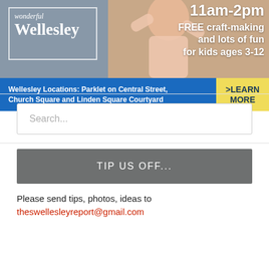[Figure (photo): Promotional banner ad for 'Wonderful Wellesley' showing a child with arms raised, text reading '11am-2pm FREE craft-making and lots of fun for kids ages 3-12', with blue bottom bar listing Wellesley locations and a yellow 'LEARN MORE' button]
Search...
TIP US OFF...
Please send tips, photos, ideas to theswellesleyreport@gmail.com